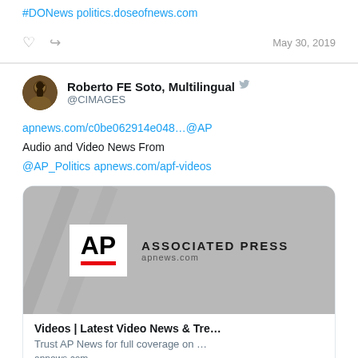#DONews politics.doseofnews.com
May 30, 2019
Roberto FE Soto, Multilingual @CIMAGES
apnews.com/c0be062914e048...@AP
Audio and Video News From
@AP_Politics apnews.com/apf-videos
[Figure (logo): Associated Press logo card with AP box and red underline, ASSOCIATED PRESS text, apnews.com]
Videos | Latest Video News & Tre...
Trust AP News for full coverage on ...
apnews.com
Nov 7, 2018